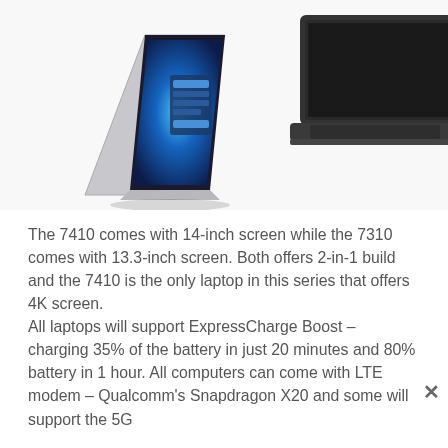[Figure (photo): Two Dell laptops — one silver 2-in-1 in tent mode with a blue swirl screen and blue login UI, and one dark/black laptop shown from the side/back, both on a white background.]
The 7410 comes with 14-inch screen while the 7310 comes with 13.3-inch screen. Both offers 2-in-1 build and the 7410 is the only laptop in this series that offers 4K screen. All laptops will support ExpressCharge Boost – charging 35% of the battery in just 20 minutes and 80% battery in 1 hour. All computers can come with LTE modem – Qualcomm's Snapdragon X20 and some will support the 5G